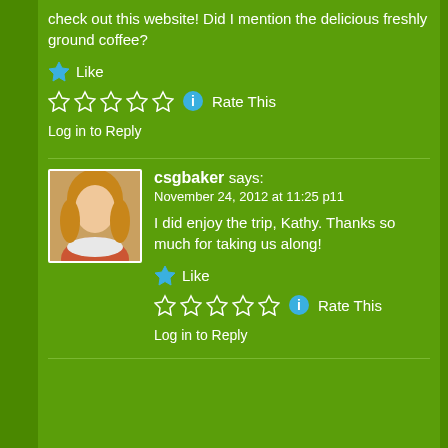check out this website! Did I mention the delicious freshly ground coffee?
Like
Rate This
Log in to Reply
csgbaker says:
November 24, 2012 at 11:25 p11
I did enjoy the trip, Kathy. Thanks so much for taking us along!
Like
Rate This
Log in to Reply